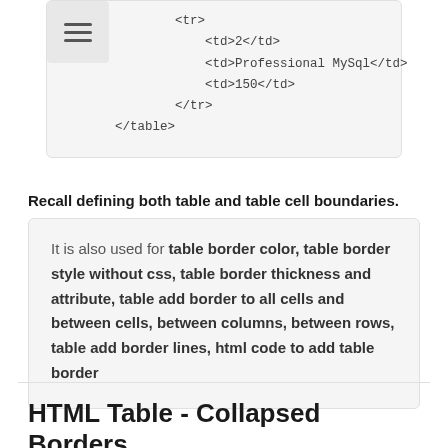[Figure (screenshot): Code snippet box showing HTML table code with <tr>, <td>2</td>, <td>Professional MySql</td>, <td>150</td>, </tr>, </table> with a menu hamburger icon in top-left corner]
Recall defining both table and table cell boundaries.
It is also used for table border color, table border style without css, table border thickness and attribute, table add border to all cells and between cells, between columns, between rows, table add border lines, html code to add table border
HTML Table - Collapsed Borders